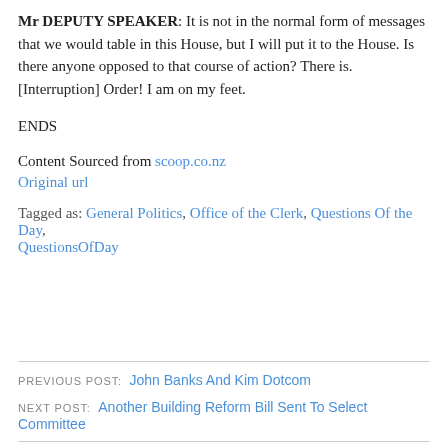Mr DEPUTY SPEAKER: It is not in the normal form of messages that we would table in this House, but I will put it to the House. Is there anyone opposed to that course of action? There is. [Interruption] Order! I am on my feet.
ENDS
Content Sourced from scoop.co.nz
Original url
Tagged as: General Politics, Office of the Clerk, Questions Of the Day, QuestionsOfDay
PREVIOUS POST: John Banks And Kim Dotcom
NEXT POST: Another Building Reform Bill Sent To Select Committee